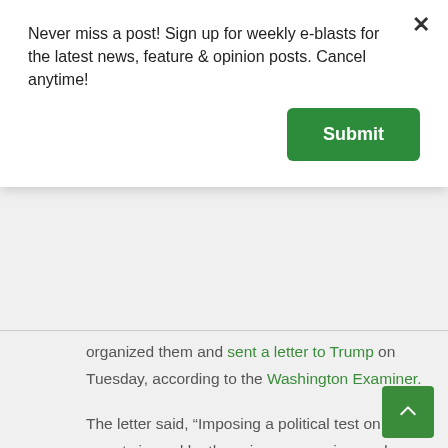Never miss a post! Sign up for weekly e-blasts for the latest news, feature & opinion posts. Cancel anytime!
Submit
organized them and sent a letter to Trump on Tuesday, according to the Washington Examiner.
The letter said, “Imposing a political test on reports issued by the science agencies, and forcing a blind spot onto the national security assessments that depend on them, will erode our national security.... Let’s drop the politics, and allow our national security